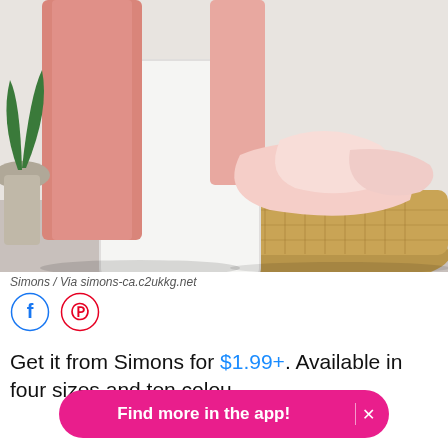[Figure (photo): Pink bath towels draped over a white bathtub and folded on a woven jute basket, with a plant visible in the background on a grey surface.]
Simons / Via simons-ca.c2ukkg.net
[Figure (other): Facebook and Pinterest social share icon buttons (circular outlines)]
Get it from Simons for $1.99+. Available in four sizes and ten colou
Find more in the app!  ×